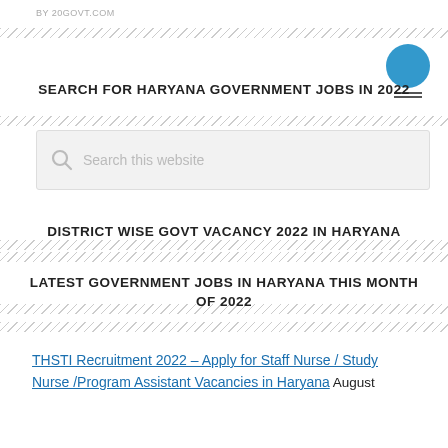BY 20GOVT.COM
SEARCH FOR HARYANA GOVERNMENT JOBS IN 2022
[Figure (other): Search box with magnifying glass icon and placeholder text 'Search this website']
DISTRICT WISE GOVT VACANCY 2022 IN HARYANA
LATEST GOVERNMENT JOBS IN HARYANA THIS MONTH OF 2022
THSTI Recruitment 2022 – Apply for Staff Nurse / Study Nurse /Program Assistant Vacancies in Haryana August